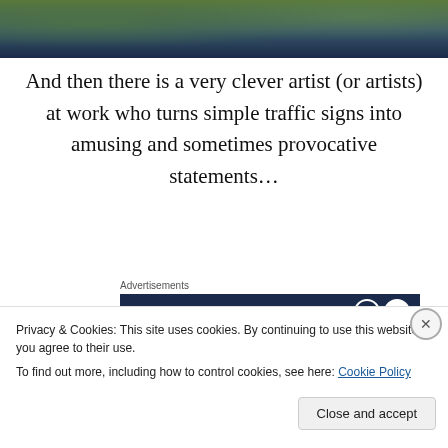[Figure (photo): Top portion of an outdoor photo showing greenery and a path, partially cropped]
And then there is a very clever artist (or artists) at work who turns simple traffic signs into amusing and sometimes provocative statements…
Advertisements
[Figure (screenshot): Advertisement banner with dark navy background showing 'Opinions.' text in italic white with circular icons on the right]
[Figure (photo): Partially visible photo of what appears to be a building exterior or street scene]
Privacy & Cookies: This site uses cookies. By continuing to use this website, you agree to their use.
To find out more, including how to control cookies, see here: Cookie Policy